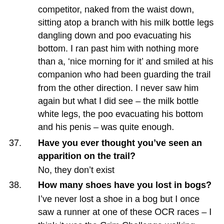competitor, naked from the waist down, sitting atop a branch with his milk bottle legs dangling down and poo evacuating his bottom. I ran past him with nothing more than a, ‘nice morning for it’ and smiled at his companion who had been guarding the trail from the other direction. I never saw him again but what I did see – the milk bottle white legs, the poo evacuating his bottom and his penis – was quite enough.
37. Have you ever thought you’ve seen an apparition on the trail?
No, they don’t exist
38. How many shoes have you lost in bogs?
I’ve never lost a shoe in a bog but I once saw a runner at one of these OCR races – I think it was the Grim Challenge walking slowly back to the start barefooted – he had lost both his shoes and one of his socks. This